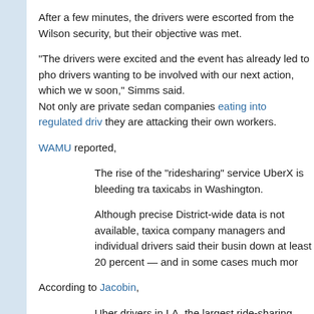After a few minutes, the drivers were escorted from the Wilson security, but their objective was met.
“The drivers were excited and the event has already led to pho drivers wanting to be involved with our next action, which we w soon,” Simms said.
Not only are private sedan companies eating into regulated driv they are attacking their own workers.
WAMU reported,
The rise of the “ridesharing” service UberX is bleeding tra taxicabs in Washington.
Although precise District-wide data is not available, taxica company managers and individual drivers said their busin down at least 20 percent — and in some cases much mor
According to Jacobin,
Uber drivers in LA, the largest ride-sharing market in the